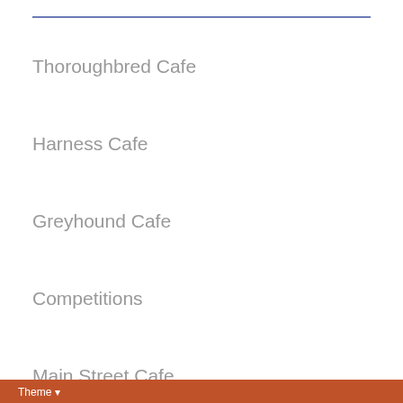Thoroughbred Cafe
Harness Cafe
Greyhound Cafe
Competitions
Main Street Cafe
Like & Follow Our Facebook Page
Theme ▾   Privacy Policy   Contact Us   Copyright Racecafe